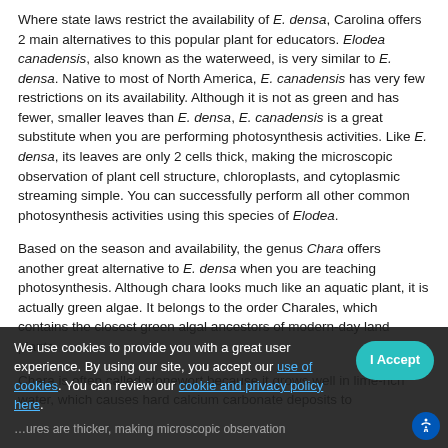Where state laws restrict the availability of E. densa, Carolina offers 2 main alternatives to this popular plant for educators. Elodea canadensis, also known as the waterweed, is very similar to E. densa. Native to most of North America, E. canadensis has very few restrictions on its availability. Although it is not as green and has fewer, smaller leaves than E. densa, E. canadensis is a great substitute when you are performing photosynthesis activities. Like E. densa, its leaves are only 2 cells thick, making the microscopic observation of plant cell structure, chloroplasts, and cytoplasmic streaming simple. You can successfully perform all other common photosynthesis activities using this species of Elodea.
Based on the season and availability, the genus Chara offers another great alternative to E. densa when you are teaching photosynthesis. Although chara looks much like an aquatic plant, it is actually green algae. It belongs to the order Charales, which contains the closest green algal ancestors of modern-day land plants.
Chara is often called stonewort because it grows well in lime-rich water, which causes hard calcium carbonate deposits to accumulate on the plant's surface. The calcium carbonate enriched structures are thicker, making microscopic observation
We use cookies to provide you with a great user experience. By using our site, you accept our use of cookies. You can review our cookie and privacy policy here.